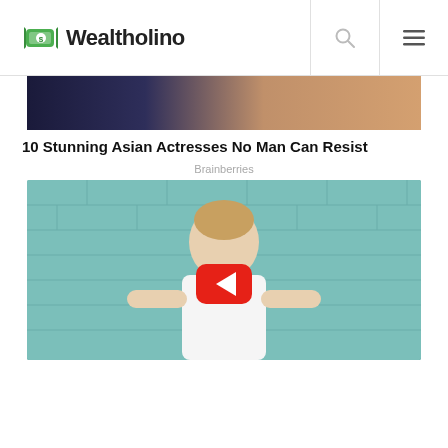Wealtholino
[Figure (photo): Partial cropped image at top of page, dark and warm skin tones visible]
10 Stunning Asian Actresses No Man Can Resist
Brainberries
[Figure (screenshot): Video thumbnail showing a woman in white turtleneck sitting against a teal brick wall, with a YouTube play button overlay in red]